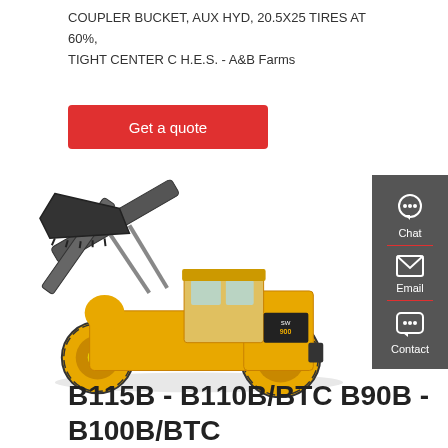COUPLER BUCKET, AUX HYD, 20.5X25 TIRES AT 60%, TIGHT CENTER C H.E.S. - A&B Farms
[Figure (other): Red 'Get a quote' button element]
[Figure (photo): Yellow wheel loader / front-end loader machine (model SW 900 or similar) with raised bucket arm, photographed on white background]
[Figure (infographic): Dark grey sidebar with Chat (headset icon), Email (envelope icon), and Contact (speech bubble icon) buttons with red dividers]
B115B - B110B/BTC B90B - B100B/BTC